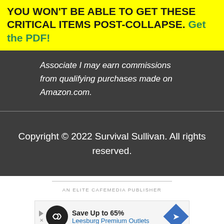YOU WON'T BE ABLE TO GET THESE CRITICAL ITEMS POST-COLLAPSE. Get the PDF!
Associate I may earn commissions from qualifying purchases made on Amazon.com.
Copyright © 2022 Survival Sullivan. All rights reserved.
AN ELITE CAFEMEDIA PUBLISHER
[Figure (other): Advertisement banner: Save Up to 65% Leesburg Premium Outlets]